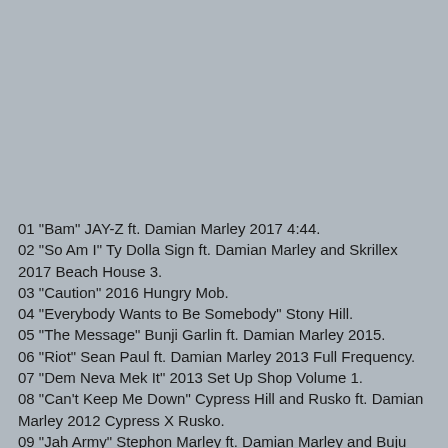[Figure (photo): Gray background image area occupying the top portion of the page]
01 "Bam" JAY-Z ft. Damian Marley 2017 4:44.
02 "So Am I" Ty Dolla Sign ft. Damian Marley and Skrillex 2017 Beach House 3.
03 "Caution" 2016 Hungry Mob.
04 "Everybody Wants to Be Somebody" Stony Hill.
05 "The Message" Bunji Garlin ft. Damian Marley 2015.
06 "Riot" Sean Paul ft. Damian Marley 2013 Full Frequency.
07 "Dem Neva Mek It" 2013 Set Up Shop Volume 1.
08 "Can't Keep Me Down" Cypress Hill and Rusko ft. Damian Marley 2012 Cypress X Rusko.
09 "Jah Army" Stephon Marley ft. Damian Marley and Buju